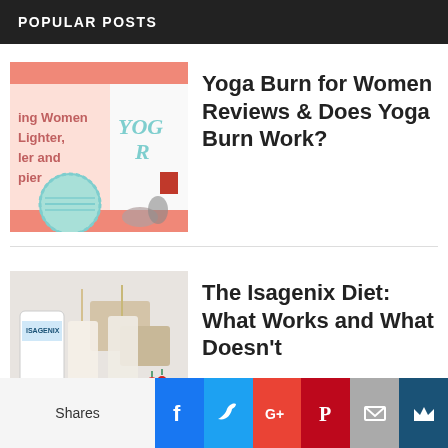POPULAR POSTS
[Figure (illustration): Yoga Burn book cover thumbnail showing salmon/coral color scheme with text 'ing Women Lighter, ler and pier' and 'YOG R' with a teal badge seal and yoga mat/stones]
Yoga Burn for Women Reviews & Does Yoga Burn Work?
[Figure (photo): Photo of Isagenix diet products including a white supplement container labeled ISAGENIX and two tall smoothie/shake glasses with straws, alongside a bowl of strawberries on a light background]
The Isagenix Diet: What Works and What Doesn't
Shares | Facebook | Twitter | Google+ | Pinterest | Email | Crown